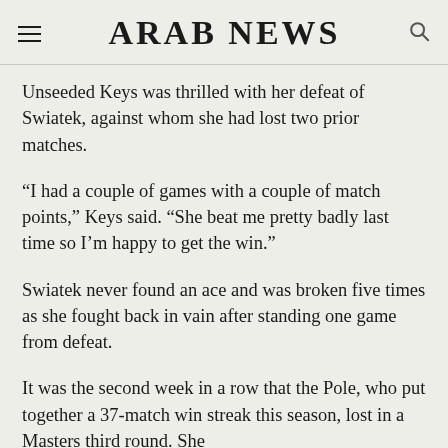ARAB NEWS
Unseeded Keys was thrilled with her defeat of Swiatek, against whom she had lost two prior matches.
“I had a couple of games with a couple of match points,” Keys said. “She beat me pretty badly last time so I’m happy to get the win.”
Swiatek never found an ace and was broken five times as she fought back in vain after standing one game from defeat.
It was the second week in a row that the Pole, who put together a 37-match win streak this season, lost in a Masters third round. She